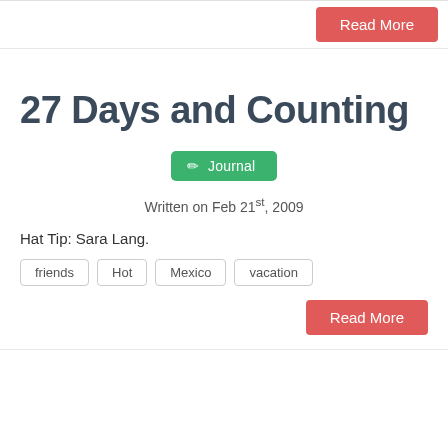[Figure (other): Red 'Read More' button at top right]
27 Days and Counting
[Figure (other): Green 'Journal' badge/button with pencil icon]
Written on Feb 21st, 2009
Hat Tip: Sara Lang.
friends
Hot
Mexico
vacation
[Figure (other): Red 'Read More' button at bottom right]